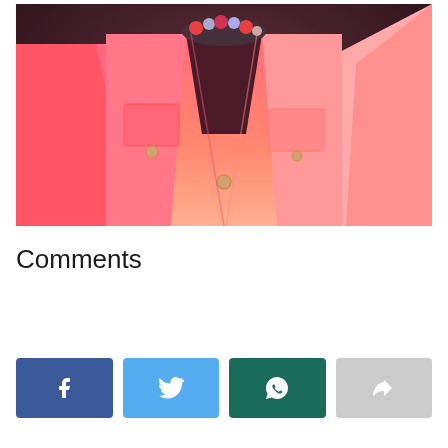[Figure (photo): A person wearing a salmon/coral colored ombre button-up blouse with chest pockets. A beaded necklace is partially visible at the neckline. The background is dark.]
Comments